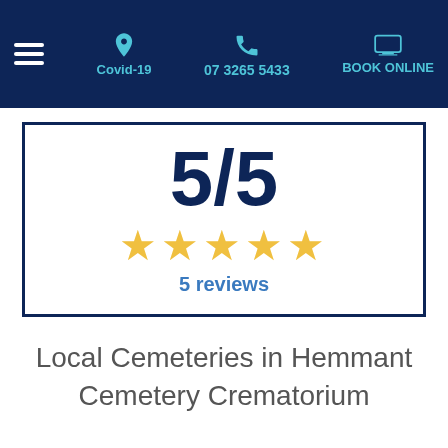Covid-19  07 3265 5433  BOOK ONLINE
[Figure (infographic): Rating box showing 5/5 score with 5 gold stars and '5 reviews' text, inside a dark blue bordered box]
Local Cemeteries in Hemmant Cemetery Crematorium